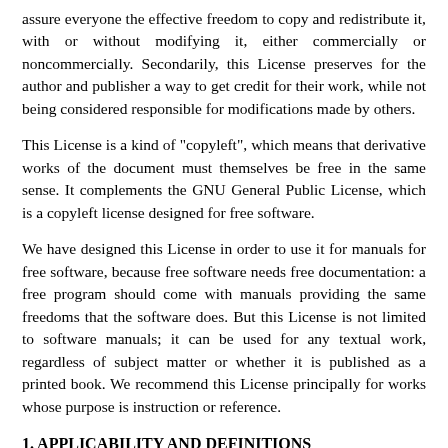assure everyone the effective freedom to copy and redistribute it, with or without modifying it, either commercially or noncommercially. Secondarily, this License preserves for the author and publisher a way to get credit for their work, while not being considered responsible for modifications made by others.
This License is a kind of "copyleft", which means that derivative works of the document must themselves be free in the same sense. It complements the GNU General Public License, which is a copyleft license designed for free software.
We have designed this License in order to use it for manuals for free software, because free software needs free documentation: a free program should come with manuals providing the same freedoms that the software does. But this License is not limited to software manuals; it can be used for any textual work, regardless of subject matter or whether it is published as a printed book. We recommend this License principally for works whose purpose is instruction or reference.
1. APPLICABILITY AND DEFINITIONS
This License applies to any manual or other work, in any medium, that contains a notice placed by the copyright holder saying it can be distributed under the terms of this License. Such a notice grants